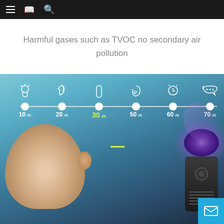Navigation bar with menu, bookmark, and search icons
Harmful gases such as TVOC no secondary air pollution
[Figure (photo): Product marketing image showing a sleeping baby next to an air purifier (tower-style with purple UV light glow), overlaid with a sound level scale showing 10 dB, 20 dB, 30 dB (highlighted in yellow-green), 50 dB, 60 dB, 70 dB with corresponding icons (flower, leaf, cylinder, ear, clock, speech bubble). The 30 dB level is highlighted indicating the purifier's quiet operation level.]